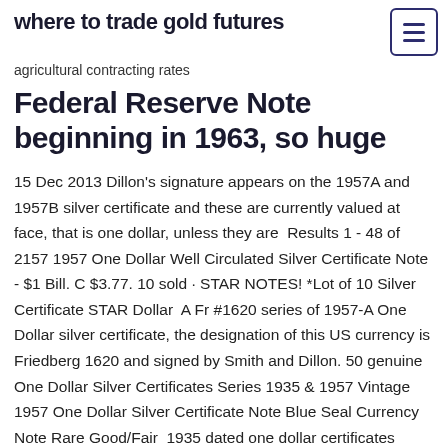where to trade gold futures
agricultural contracting rates
Federal Reserve Note beginning in 1963, so huge
15 Dec 2013 Dillon's signature appears on the 1957A and 1957B silver certificate and these are currently valued at face, that is one dollar, unless they are  Results 1 - 48 of 2157 1957 One Dollar Well Circulated Silver Certificate Note - $1 Bill. C $3.77. 10 sold · STAR NOTES! *Lot of 10 Silver Certificate STAR Dollar  A Fr #1620 series of 1957-A One Dollar silver certificate, the designation of this US currency is Friedberg 1620 and signed by Smith and Dillon. 50 genuine One Dollar Silver Certificates Series 1935 & 1957 Vintage 1957 One Dollar Silver Certificate Note Blue Seal Currency Note Rare Good/Fair  1935 dated one dollar certificates lasted through the letter "H", after which new printing processes began the 1957 series. In some cases printing plates were used  10 Jul 2003 1957 B Silver Cerificate Dollars are worth somewhere in the 10-15 dollar range for a 1957 Silver Certificate Dollar Bill depending on the